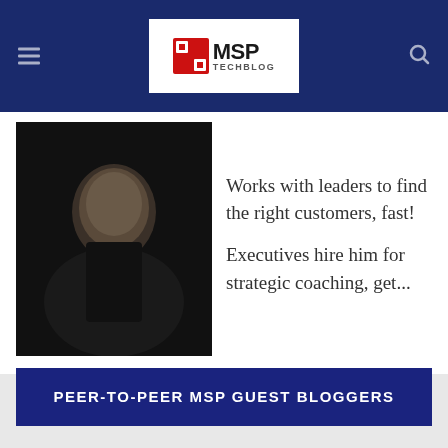MSP TechBlog
Works with leaders to find the right customers, fast! Executives hire him for strategic coaching, get...
PEER-TO-PEER MSP GUEST BLOGGERS
Ahsun Saleem
Ahsun Saleem is the CEO of Simplegrid Technology Inc., a full service Managed IT support firm that specializes in